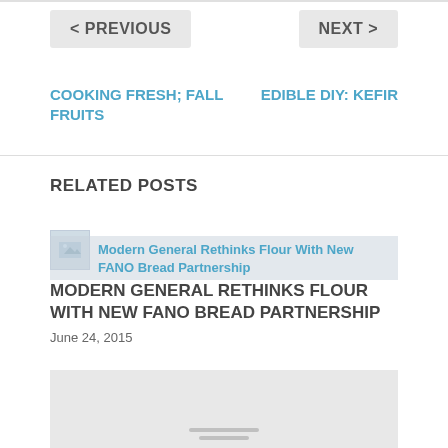< PREVIOUS
NEXT >
COOKING FRESH; FALL FRUITS
EDIBLE DIY: KEFIR
RELATED POSTS
Modern General Rethinks Flour With New FANO Bread Partnership
MODERN GENERAL RETHINKS FLOUR WITH NEW FANO BREAD PARTNERSHIP
June 24, 2015
[Figure (photo): Placeholder image for related post thumbnail]